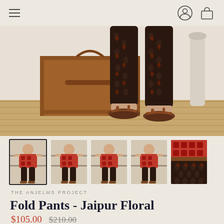THE ANJELMS PROJECT — navigation menu, user icon, cart icon
[Figure (photo): Close-up product photo showing lower half of a woman wearing dark brown Jaipur Floral print fold pants and brown sandals, standing next to a vintage leather suitcase on a wood floor]
[Figure (photo): Row of 5 product thumbnail images showing a woman wearing the Fold Pants - Jaipur Floral with a red patterned top. First thumbnail is selected (active border).]
THE ANJELMS PROJECT
Fold Pants - Jaipur Floral
$105.00  $210.00